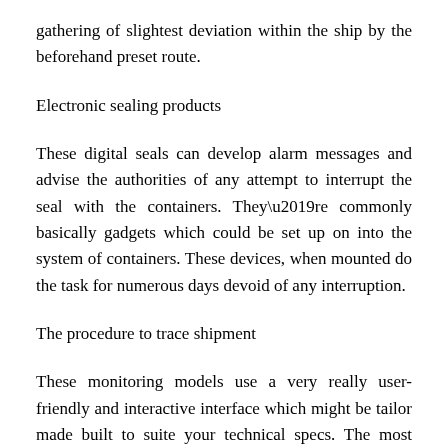gathering of slightest deviation within the ship by the beforehand preset route.
Electronic sealing products
These digital seals can develop alarm messages and advise the authorities of any attempt to interrupt the seal with the containers. They’re commonly basically gadgets which could be set up on into the system of containers. These devices, when mounted do the task for numerous days devoid of any interruption.
The procedure to trace shipment
These monitoring models use a very really user-friendly and interactive interface which might be tailor made built to suite your technical specs. The most beneficial